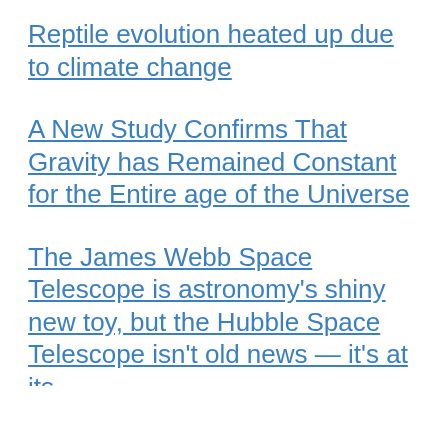Reptile evolution heated up due to climate change
A New Study Confirms That Gravity has Remained Constant for the Entire age of the Universe
The James Webb Space Telescope is astronomy's shiny new toy, but the Hubble Space Telescope isn't old news — it's at its [clipped]
We use cookies on our website to give you the most relevant experience by remembering your preferences and repeat visits. By clicking “Accept All”, you consent to the use of ALL the cookies. However, you may visit "Cookie Settings" to provide a controlled consent.